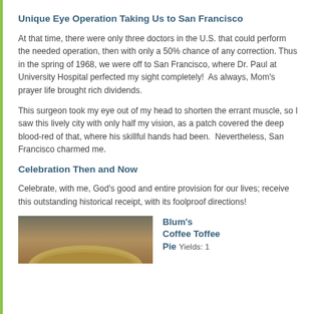Unique Eye Operation Taking Us to San Francisco
At that time, there were only three doctors in the U.S. that could perform the needed operation, then with only a 50% chance of any correction. Thus in the spring of 1968, we were off to San Francisco, where Dr. Paul at University Hospital perfected my sight completely!  As always, Mom’s prayer life brought rich dividends.
This surgeon took my eye out of my head to shorten the errant muscle, so I saw this lively city with only half my vision, as a patch covered the deep blood-red of that, where his skillful hands had been.  Nevertheless, San Francisco charmed me.
Celebration Then and Now
Celebrate, with me, God’s good and entire provision for our lives; receive this outstanding historical receipt, with its foolproof directions!
[Figure (photo): A photo of a pie or tart on a plate, partially visible at the bottom of the page.]
Blum’s Coffee Toffee Pie  Yields: 1